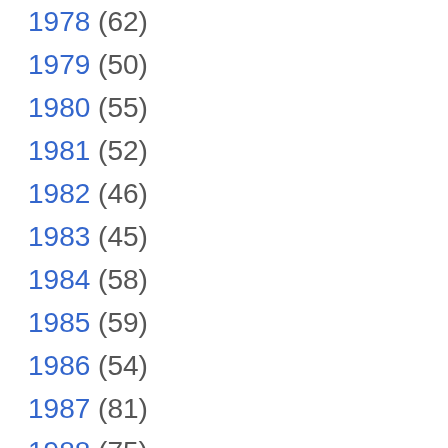1978 (62)
1979 (50)
1980 (55)
1981 (52)
1982 (46)
1983 (45)
1984 (58)
1985 (59)
1986 (54)
1987 (81)
1988 (75)
1989 (69)
1990 (74)
1991 (101)
1992 (82)